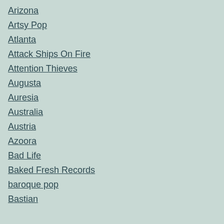Arizona
Artsy Pop
Atlanta
Attack Ships On Fire
Attention Thieves
Augusta
Auresia
Australia
Austria
Azoora
Bad Life
Baked Fresh Records
baroque pop
Bastian